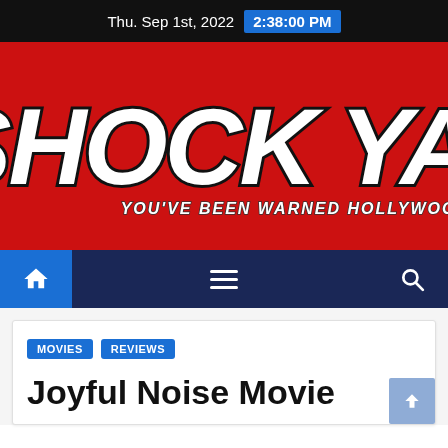Thu. Sep 1st, 2022  2:38:00 PM
[Figure (logo): Shock Ya! logo on red background with tagline YOU'VE BEEN WARNED HOLLYWOOD!]
[Figure (screenshot): Navigation bar with home icon, hamburger menu, and search icon on dark navy background]
MOVIES  REVIEWS
Joyful Noise Movie